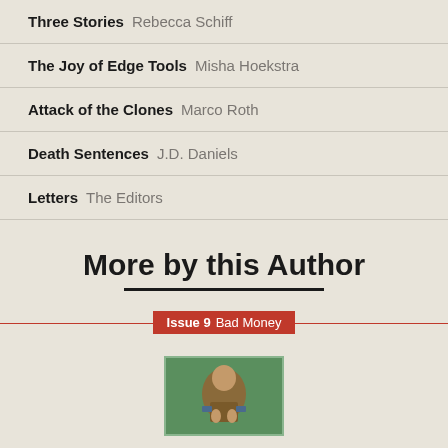Three Stories  Rebecca Schiff
The Joy of Edge Tools  Misha Hoekstra
Attack of the Clones  Marco Roth
Death Sentences  J.D. Daniels
Letters  The Editors
More by this Author
Issue 9  Bad Money
[Figure (illustration): Small illustrated image, possibly a medieval or classical painting with figures on a green background, partially visible at bottom of page.]